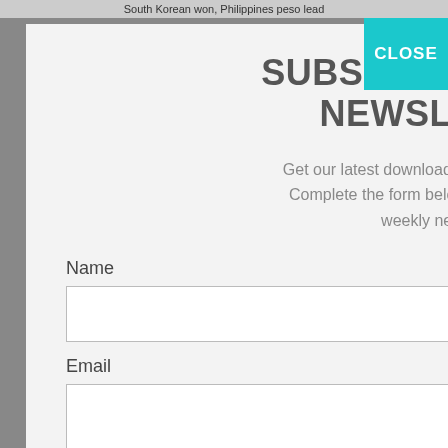South Korean won, Philippines peso lead
SUBSCRIBE TO OUR NEWSLETTER
Get our latest downloads and information first. Complete the form below to subscribe to our weekly newsletter.
Name
Email
I consent to being contacted via telephone and/or email and I consent to